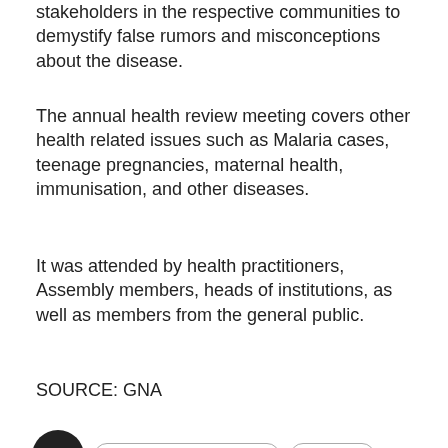stakeholders in the respective communities to demystify false rumors and misconceptions about the disease.
The annual health review meeting covers other health related issues such as Malaria cases, teenage pregnancies, maternal health, immunisation, and other diseases.
It was attended by health practitioners, Assembly members, heads of institutions, as well as members from the general public.
SOURCE: GNA
AKATSI SOUTH MUNICIPAL   COVID-19
Alex Tagoe